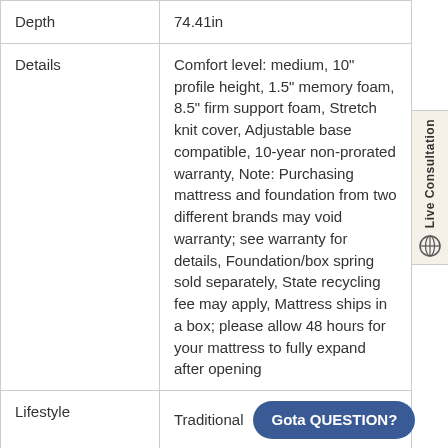| Field | Value |
| --- | --- |
| Depth | 74.41in |
| Details | Comfort level: medium, 10" profile height, 1.5" memory foam, 8.5" firm support foam, Stretch knit cover, Adjustable base compatible, 10-year non-prorated warranty, Note: Purchasing mattress and foundation from two different brands may void warranty; see warranty for details, Foundation/box spring sold separately, State recycling fee may apply, Mattress ships in a box; please allow 48 hours for your mattress to fully expand after opening |
| Lifestyle | Traditional |
| Dimensions | 38"W x 74"D x 10"H |